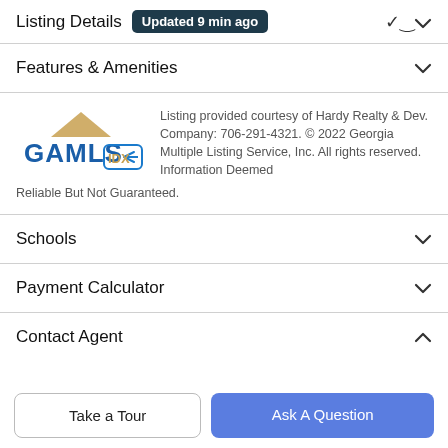Listing Details — Updated 9 min ago
Features & Amenities
Listing provided courtesy of Hardy Realty & Dev. Company: 706-291-4321. © 2022 Georgia Multiple Listing Service, Inc. All rights reserved. Information Deemed Reliable But Not Guaranteed.
Schools
Payment Calculator
Contact Agent
Take a Tour
Ask A Question